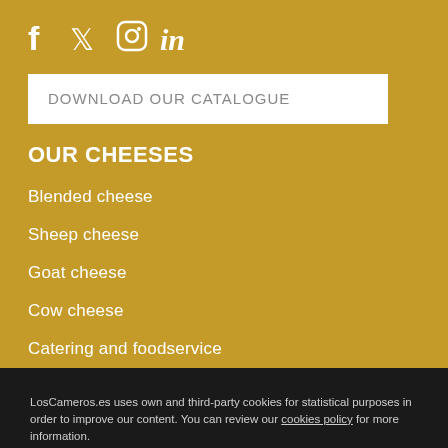[Figure (illustration): Social media icons: Facebook (f), Twitter (bird), Instagram (circle camera), LinkedIn (in)]
DOWNLOAD OUR CATALOGUE
OUR CHEESES
Blended cheese
Sheep cheese
Goat cheese
Cow cheese
Catering and foodservice
THE CHEESERY
LosCameros.es uses own and third-party cookies for statistical purposes in order to improve our content. You can review our cookies policy for more information.